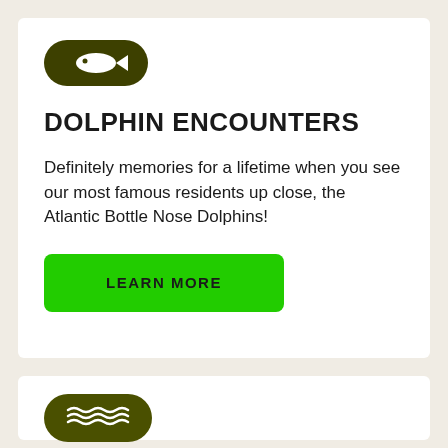[Figure (logo): Dark olive green pill-shaped logo with a white fish icon inside]
DOLPHIN ENCOUNTERS
Definitely memories for a lifetime when you see our most famous residents up close, the Atlantic Bottle Nose Dolphins!
LEARN MORE
[Figure (logo): Dark olive green pill-shaped logo with white wave lines inside]